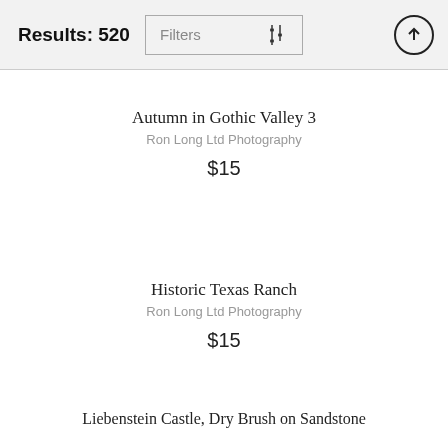Results: 520   Filters   [upload icon]
Autumn in Gothic Valley 3
Ron Long Ltd Photography
$15
Historic Texas Ranch
Ron Long Ltd Photography
$15
Liebenstein Castle, Dry Brush on Sandstone